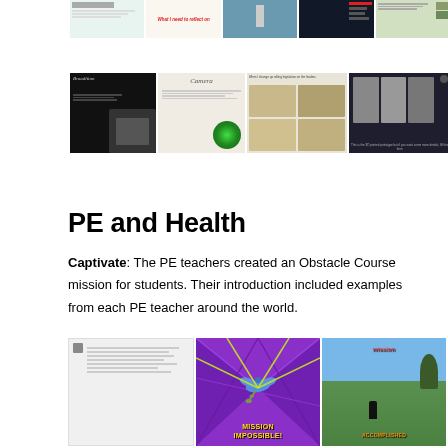[Figure (screenshot): Row of five thumbnail screenshots of slides/presentations at the top of the page]
[Figure (screenshot): Row of five thumbnail screenshots showing presentation slides including robotics, camera, science content]
PE and Health
Captivate: The PE teachers created an Obstacle Course mission for students. Their introduction included examples from each PE teacher around the world.
[Figure (screenshot): Row of three thumbnail screenshots: a slide deck list, Mission Impossible graphic with bird and purple background, and a field photo with Mission Accomplished text]